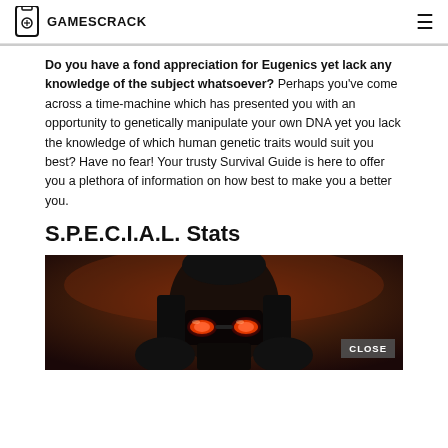GAMESCRACK
Do you have a fond appreciation for Eugenics yet lack any knowledge of the subject whatsoever? Perhaps you've come across a time-machine which has presented you with an opportunity to genetically manipulate your own DNA yet you lack the knowledge of which human genetic traits would suit you best? Have no fear! Your trusty Survival Guide is here to offer you a plethora of information on how best to make you a better you.
S.P.E.C.I.A.L. Stats
[Figure (photo): A dark armored character with glowing red goggles against a red background, with a CLOSE button overlay in the bottom right corner.]